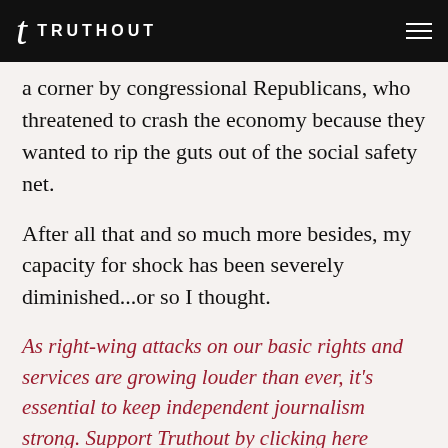TRUTHOUT
a corner by congressional Republicans, who threatened to crash the economy because they wanted to rip the guts out of the social safety net.
After all that and so much more besides, my capacity for shock has been severely diminished...or so I thought.
As right-wing attacks on our basic rights and services are growing louder than ever, it's essential to keep independent journalism strong. Support Truthout by clicking here